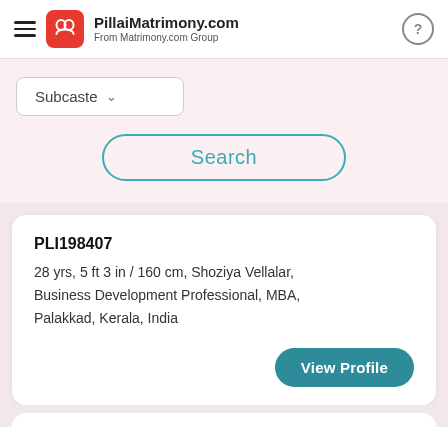PillaiMatrimony.com — From Matrimony.com Group
Subcaste
Search
PLI198407
28 yrs, 5 ft 3 in / 160 cm, Shoziya Vellalar, Business Development Professional, MBA, Palakkad, Kerala, India
View Profile